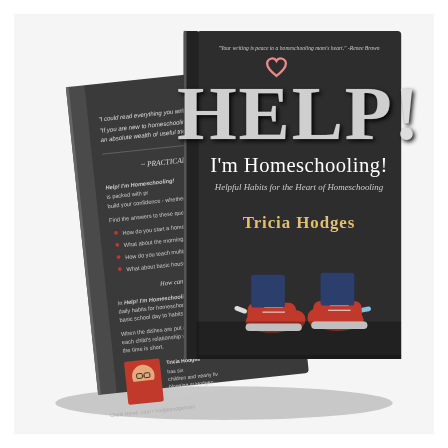[Figure (photo): 3D book cover mockup showing two copies of 'HELP! I'm Homeschooling! Helpful Habits for the Heart of Homeschooling' by Tricia Hodges. The front cover features large chalk-style text on a dark chalkboard background with red sneakers visible at the bottom and colorful chalk pieces scattered around. The back cover is visible on the left showing testimonial text, bullet points, author bio with photo, and publisher information.]